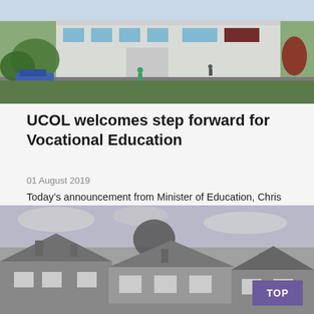[Figure (photo): Exterior photo of UCOL campus building in colour, with trees, parked cars, and people near the entrance]
UCOL welcomes step forward for Vocational Education
01 August 2019
Today’s announcement from Minister of Education, Chris Hipkins, signals an important development in redefining New Zealand’s vocational education training sector, and is welcomed by central North Island polytechnic UCOL.
[Figure (photo): Black and white photo of old residential houses with pitched roofs and chimneys]